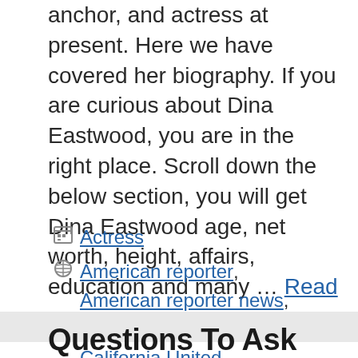anchor, and actress at present. Here we have covered her biography. If you are curious about Dina Eastwood, you are in the right place. Scroll down the below section, you will get Dina Eastwood age, net worth, height, affairs, education and many … Read more
Actress
American reporter, American reporter news, anchor actress, California United, California United States, Dina Eastwood
Questions To Ask